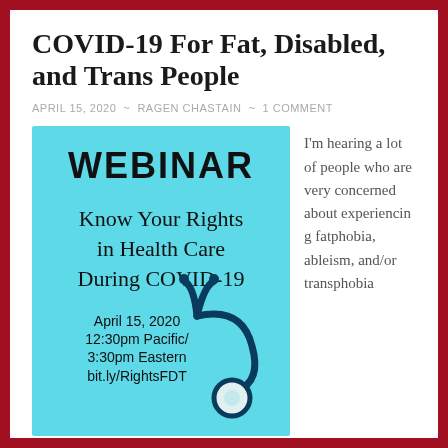COVID-19 For Fat, Disabled, and Trans People
APRIL 15, 2020 ~ RAGEN CHASTAIN ~ 1 COMMENT
[Figure (infographic): Webinar promotional graphic on light blue background. Text reads: WEBINAR (bold), Know Your Rights in Health Care During COVID-19, April 15, 2020, 12:30pm Pacific/ 3:30pm Eastern, bit.ly/RightsFDT. A stethoscope is shown in the lower right.]
I'm hearing a lot of people who are very concerned about experiencing fatphobia, ableism, and/or transphobia if they require healthcare for COVID-19. Of course,